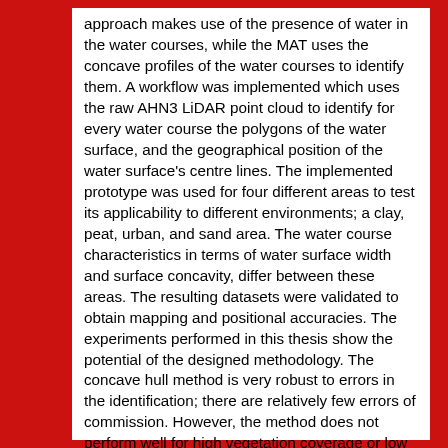approach makes use of the presence of water in the water courses, while the MAT uses the concave profiles of the water courses to identify them. A workflow was implemented which uses the raw AHN3 LiDAR point cloud to identify for every water course the polygons of the water surface, and the geographical position of the water surface's centre lines. The implemented prototype was used for four different areas to test its applicability to different environments; a clay, peat, urban, and sand area. The water course characteristics in terms of water surface width and surface concavity, differ between these areas. The resulting datasets were validated to obtain mapping and positional accuracies. The experiments performed in this thesis show the potential of the designed methodology. The concave hull method is very robust to errors in the identification; there are relatively few errors of commission. However, the method does not perform well for high vegetation coverage or low water surface width. It is particularly suited for use in areas where relative water levels are high, water courses are wide, and vegetation coverage is low. The MAT is able to operate well when water levels are low, or even when water courses are dry, and it is